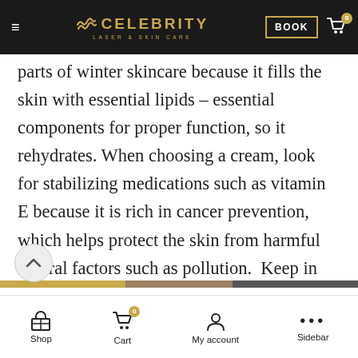Celebrity Laser & Skin Care — BOOK — Cart 0
parts of winter skincare because it fills the skin with essential lipids – essential components for proper function, so it rehydrates. When choosing a cream, look for stabilizing medications such as vitamin E because it is rich in cancer prevention, which helps protect the skin from harmful natural factors such as pollution.  Keep in mind that a good moisturizer is the best game-changer when it comes to improving your complexion.
Shop | Cart 0 | My account | Sidebar